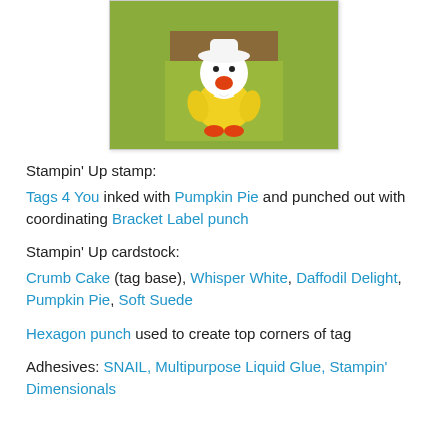[Figure (photo): A handmade craft card featuring a cute chick character made from paper punches, wearing a white hat, with yellow body, orange beak, and red feet, tied with a white bow, sitting on a green and brown background.]
Stampin' Up stamp: Tags 4 You inked with Pumpkin Pie and punched out with coordinating Bracket Label punch
Stampin' Up cardstock: Crumb Cake (tag base), Whisper White, Daffodil Delight, Pumpkin Pie, Soft Suede
Hexagon punch used to create top corners of tag
Adhesives: SNAIL, Multipurpose Liquid Glue, Stampin' Dimensionals